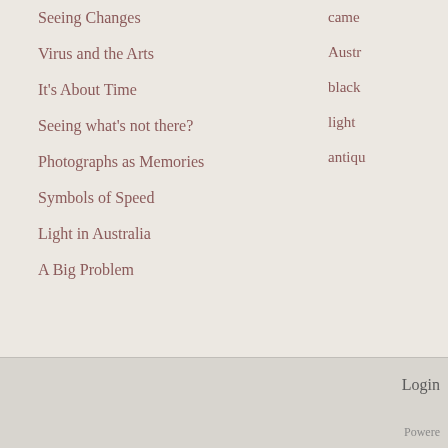Seeing Changes
came
Virus and the Arts
Austr
It's About Time
black
Seeing what's not there?
light
Photographs as Memories
antiqu
Symbols of Speed
Light in Australia
A Big Problem
Login  Powered